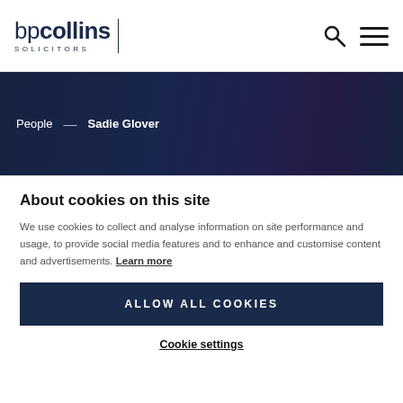[Figure (logo): bp collins Solicitors logo with vertical bar divider]
[Figure (infographic): Search icon (magnifying glass) and hamburger menu icon in top right]
[Figure (photo): Dark navy blue hero banner with blurred background image of people]
People — Sadie Glover
About cookies on this site
We use cookies to collect and analyse information on site performance and usage, to provide social media features and to enhance and customise content and advertisements. Learn more
ALLOW ALL COOKIES
Cookie settings